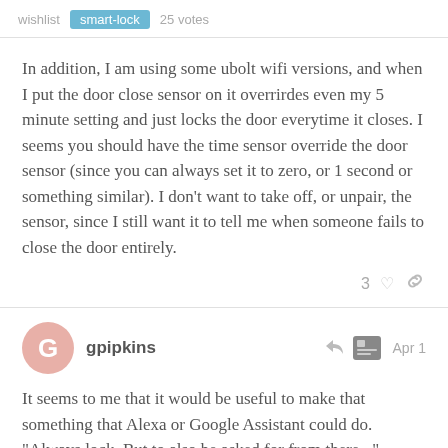wishlist  smart-lock  25 votes
In addition, I am using some ubolt wifi versions, and when I put the door close sensor on it overrirdes even my 5 minute setting and just locks the door everytime it closes. I seems you should have the time sensor override the door sensor (since you can always set it to zero, or 1 second or something similar). I don't want to take off, or unpair, the sensor, since I still want it to tell me when someone fails to close the door entirely.
gpipkins  Apr 1
It seems to me that it would be useful to make that something that Alexa or Google Assistant could do. "Always lock. But to also be asked for from there..."